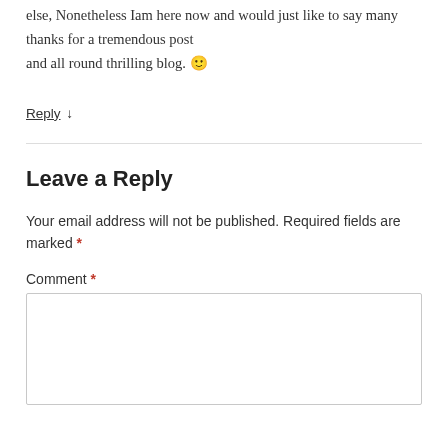else, Nonetheless Iam here now and would just like to say many thanks for a tremendous post and all round thrilling blog. 🙂
Reply ↓
Leave a Reply
Your email address will not be published. Required fields are marked *
Comment *